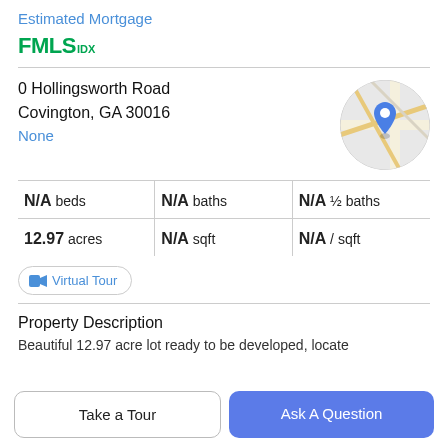Estimated Mortgage
[Figure (logo): FMLS IDX logo in green]
0 Hollingsworth Road
Covington, GA 30016
None
[Figure (map): Circular map thumbnail showing location pin for 0 Hollingsworth Road, Covington GA]
N/A beds | N/A baths | N/A ½ baths
12.97 acres | N/A sqft | N/A / sqft
Virtual Tour
Property Description
Beautiful 12.97 acre lot ready to be developed, locate
Take a Tour
Ask A Question